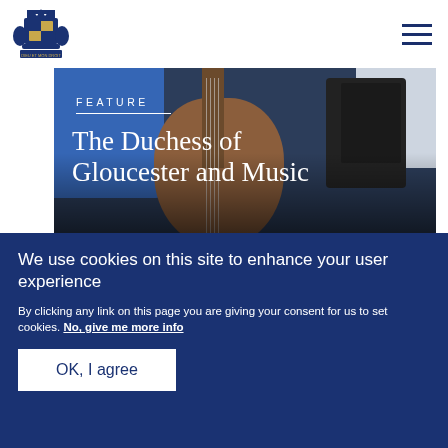Royal Family website header with crest logo and navigation menu
[Figure (photo): Feature article image showing musicians playing guitar and accordion/keyboard, overlaid with text 'FEATURE' and 'The Duchess of Gloucester and Music'. Lower portion shows outdoor trees/park scene.]
The Duchess of Gloucester and Music
FEATURE
We use cookies on this site to enhance your user experience
By clicking any link on this page you are giving your consent for us to set cookies. No, give me more info
OK, I agree